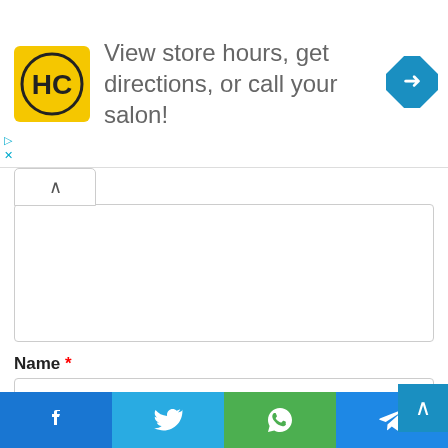[Figure (infographic): Advertisement banner with HC salon logo, text 'View store hours, get directions, or call your salon!', and a blue navigation icon on the right.]
Name *
Email *
Website
[Figure (infographic): Social share bar with Facebook, Twitter, WhatsApp, and Telegram buttons at the bottom of the page.]